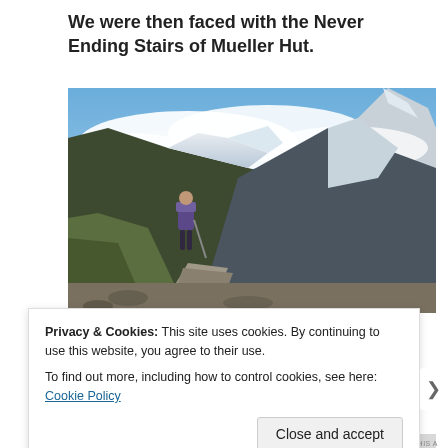We were then faced with the Never Ending Stairs of Mueller Hut.
[Figure (photo): A hiker with a backpack and trekking pole walks up a rocky mountain trail toward snow-capped peaks partially covered by clouds, with green alpine vegetation on the slopes and a clear blue sky.]
Privacy & Cookies: This site uses cookies. By continuing to use this website, you agree to their use.
To find out more, including how to control cookies, see here: Cookie Policy
Close and accept